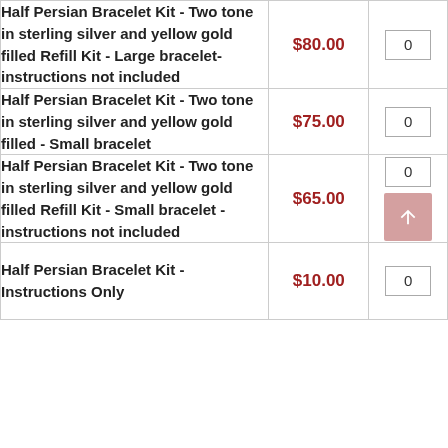| Product | Price | Qty |
| --- | --- | --- |
| Half Persian Bracelet Kit - Two tone in sterling silver and yellow gold filled Refill Kit - Large bracelet- instructions not included | $80.00 | 0 |
| Half Persian Bracelet Kit - Two tone in sterling silver and yellow gold filled - Small bracelet | $75.00 | 0 |
| Half Persian Bracelet Kit - Two tone in sterling silver and yellow gold filled Refill Kit - Small bracelet - instructions not included | $65.00 | 0 |
| Half Persian Bracelet Kit - Instructions Only | $10.00 | 0 |